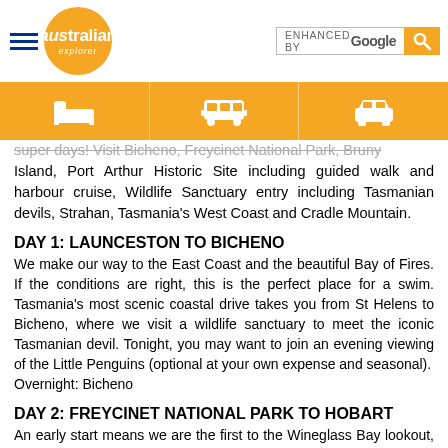australian explorer | ENHANCED BY Google
super days! Visit Bicheno, Freycinet National Park, Bruny Island, Port Arthur Historic Site including guided walk and harbour cruise, Wildlife Sanctuary entry including Tasmanian devils, Strahan, Tasmania's West Coast and Cradle Mountain.
DAY 1: LAUNCESTON TO BICHENO
We make our way to the East Coast and the beautiful Bay of Fires. If the conditions are right, this is the perfect place for a swim. Tasmania's most scenic coastal drive takes you from St Helens to Bicheno, where we visit a wildlife sanctuary to meet the iconic Tasmanian devil. Tonight, you may want to join an evening viewing of the Little Penguins (optional at your own expense and seasonal).
Overnight: Bicheno
DAY 2: FREYCINET NATIONAL PARK TO HOBART
An early start means we are the first to the Wineglass Bay lookout, beating the crowds and the heat for that postcard photo. Relax on the secluded beach or choose the more challenging Mt Amos or Hazards Beach walk. We continue